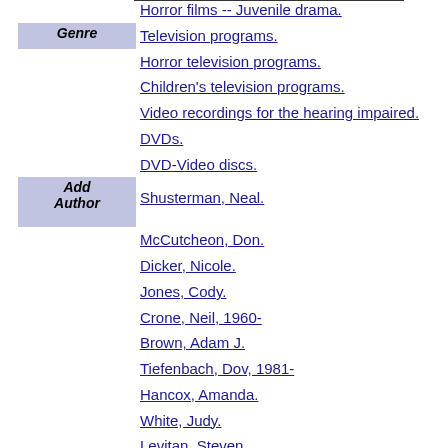|  | Horror films -- Juvenile drama. |
| Genre | Television programs. |
|  | Horror television programs. |
|  | Children's television programs. |
|  | Video recordings for the hearing impaired. |
|  | DVDs. |
|  | DVD-Video discs. |
| Add Author | Shusterman, Neal. |
|  | McCutcheon, Don. |
|  | Dicker, Nicole. |
|  | Jones, Cody. |
|  | Crone, Neil, 1960- |
|  | Brown, Adam J. |
|  | Tiefenbach, Dov, 1981- |
|  | Hancox, Amanda. |
|  | White, Judy. |
|  | Levitan, Steven. |
|  | Nevin, Booke. |
|  | Hopley, Jason. |
|  | Cohen, Gabe. |